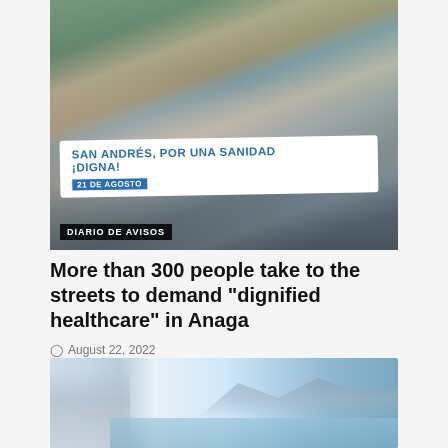[Figure (photo): Protest march photo showing crowd of people carrying a banner reading 'SAN ANDRÉS, POR UNA SANIDAD ¡DIGNA! 21 DE AGOSTO'. A label at bottom left reads 'DIARIO DE AVISOS'.]
More than 300 people take to the streets to demand "dignified healthcare" in Anaga
August 22, 2022
[Figure (photo): Coastal cityscape photo showing a tall building on the left and mountains and sea in the background.]